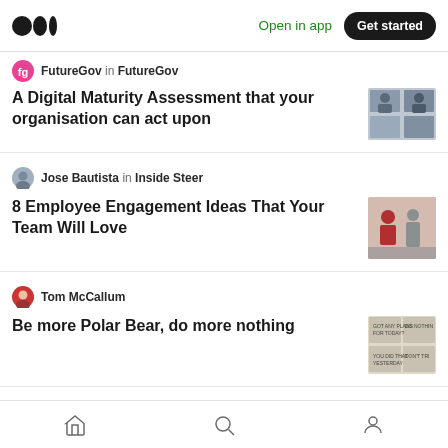Medium app header with logo, Open in app link, and Get started button
FutureGov in FutureGov
A Digital Maturity Assessment that your organisation can act upon
Jose Bautista in Inside Steer
8 Employee Engagement Ideas That Your Team Will Love
Tom McCallum
Be more Polar Bear, do more nothing
Voices in Leadership
Taking the Jobs No One Wants: A Conversation with Dr. Tomislav Mihaljevic
Bottom navigation: Home, Search, Profile